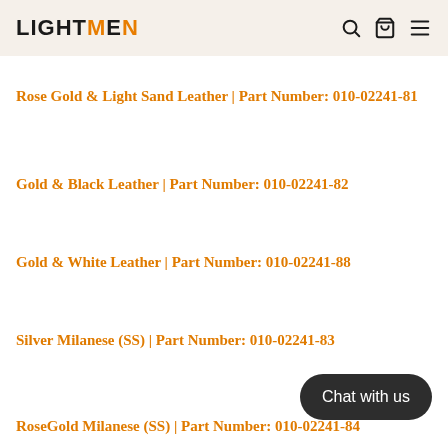LIGHTMEN
Rose Gold & Light Sand Leather | Part Number: 010-02241-81
Gold & Black Leather | Part Number: 010-02241-82
Gold & White Leather | Part Number: 010-02241-88
Silver Milanese (SS) | Part Number: 010-02241-83
RoseGold Milanese (SS) | Part Number: 010-02241-84